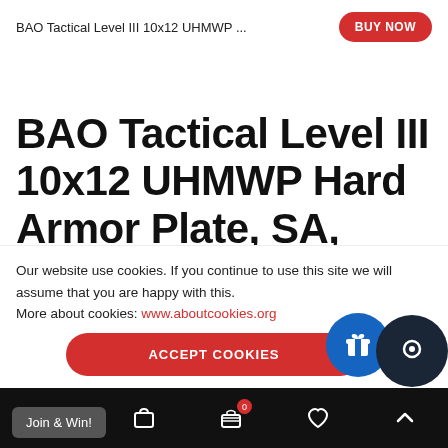BAO Tactical Level III 10x12 UHMWP ...
BAO Tactical Level III 10x12 UHMWP Hard Armor Plate, SA, Shooters Cut, Single
Our website use cookies. If you continue to use this site we will assume that you are happy with this.
More about cookies: www.aboutcookies.org
ACCEPT COOKIES
Join & Win!